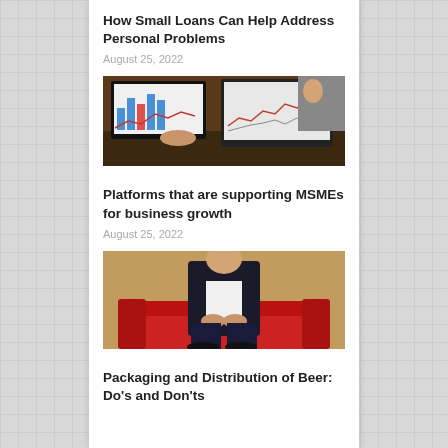How Small Loans Can Help Address Personal Problems
August 25, 2022
[Figure (photo): Person using laptop showing financial charts and graphs on screen, with another laptop visible in background]
Platforms that are supporting MSMEs for business growth
August 25, 2022
[Figure (photo): Person in dark suit sitting on red chair/sofa]
Packaging and Distribution of Beer: Do's and Don'ts